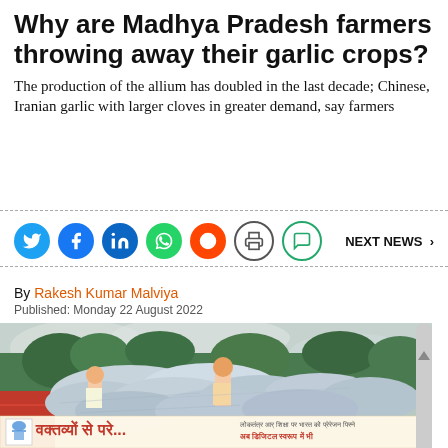Why are Madhya Pradesh farmers throwing away their garlic crops?
The production of the allium has doubled in the last decade; Chinese, Iranian garlic with larger cloves in greater demand, say farmers
[Figure (infographic): Social media sharing icons: Twitter, Facebook, LinkedIn, WhatsApp, Reddit, Print, Comment/Chat; and a NEXT NEWS > button]
By Rakesh Kumar Malviya
Published: Monday 22 August 2022
[Figure (photo): Two men on top of large sacks (likely garlic) on a truck, with trees in the background. Overcast sky. A Hindi advertisement banner overlay at the bottom reading: वक्तव्यों से परे... with smaller Hindi text and a logo.]